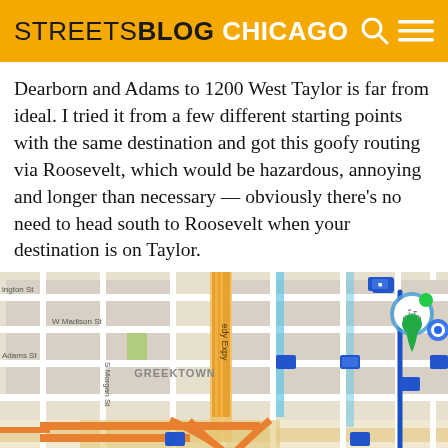STREETSBLOG CHICAGO
Dearborn and Adams to 1200 West Taylor is far from ideal. I tried it from a few different starting points with the same destination and got this goofy routing via Roosevelt, which would be hazardous, annoying and longer than necessary — obviously there's no need to head south to Roosevelt when your destination is on Taylor.
[Figure (map): Google Maps-style cycling route map showing streets in Chicago including W Madison St, Adams St, S Morgan St, Greektown area, with a blue bike route line, orange highway markers, CTA station icons, and a green bicycle destination pin at the right side.]